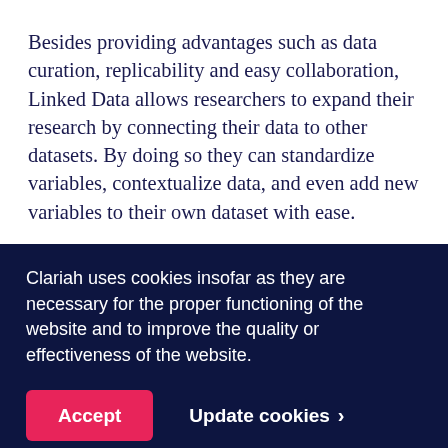Besides providing advantages such as data curation, replicability and easy collaboration, Linked Data allows researchers to expand their research by connecting their data to other datasets. By doing so they can standardize variables, contextualize data, and even add new variables to their own dataset with ease.
For example, a dataset with individuals from 19th
Clariah uses cookies insofar as they are necessary for the proper functioning of the website and to improve the quality or effectiveness of the website.
Accept
Update cookies >